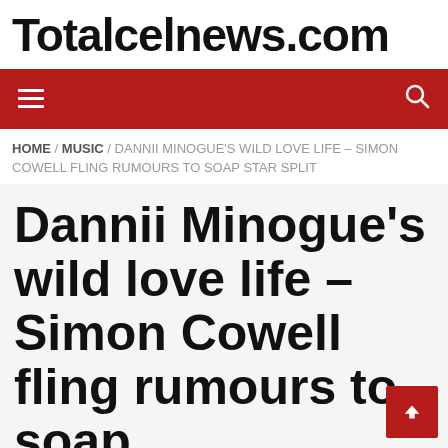Totalcelnews.com
HOME / MUSIC / DANNII MINOGUE'S WILD LOVE LIFE – SIMON COWELL FLING RUMOURS TO SOAP STAR SPLIT
Dannii Minogue's wild love life – Simon Cowell fling rumours to soap